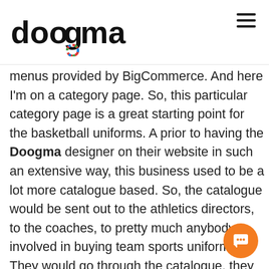doogma
menus provided by BigCommerce. And here I'm on a category page. So, this particular category page is a great starting point for the basketball uniforms. A prior to having the Doogma designer on their website in such an extensive way, this business used to be a lot more catalogue based. So, the catalogue would be sent out to the athletics directors, to the coaches, to pretty much anybody involved in buying team sports uniforms. They would go through the catalogue, they would say, “I like this, I wonder what it’s going to look like in my team colors.” Very often there were sales people involved in going out and meeting